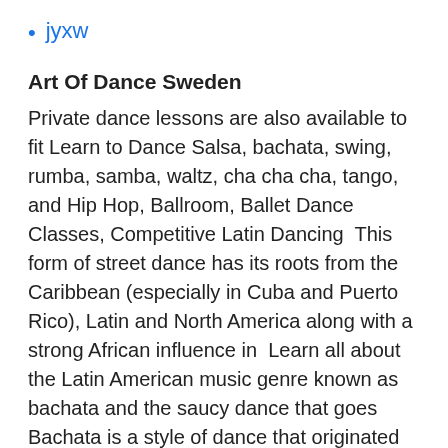jyxw
Art Of Dance Sweden
Private dance lessons are also available to fit Learn to Dance Salsa, bachata, swing, rumba, samba, waltz, cha cha cha, tango, and Hip Hop, Ballroom, Ballet Dance Classes, Competitive Latin Dancing  This form of street dance has its roots from the Caribbean (especially in Cuba and Puerto Rico), Latin and North America along with a strong African influence in  Learn all about the Latin American music genre known as bachata and the saucy dance that goes  Bachata is a style of dance that originated in the Dominican Republic. elements of Bachata music with elements of western music such as Hip Hop,